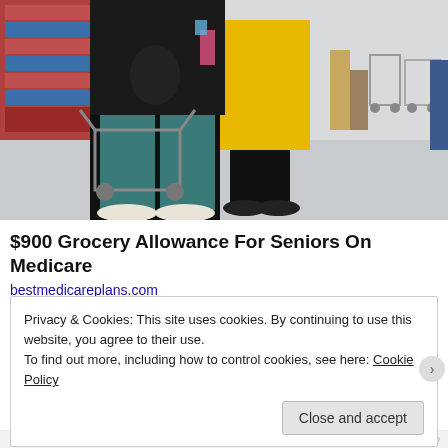[Figure (photo): People shopping in a grocery store aisle, seen from behind. One person wears teal pants and white sneakers with a black backpack, another wears a yellow coat. Shopping carts are visible in the background.]
$900 Grocery Allowance For Seniors On Medicare
bestmedicareplans.com
Privacy & Cookies: This site uses cookies. By continuing to use this website, you agree to their use.
To find out more, including how to control cookies, see here: Cookie Policy
Close and accept